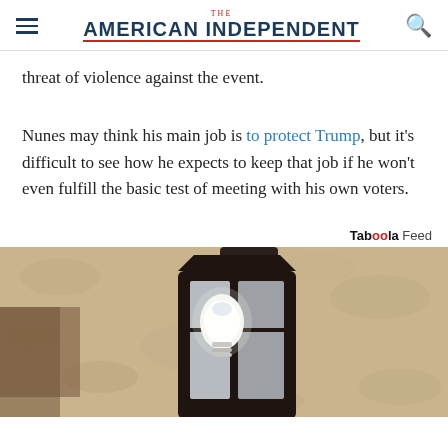THE AMERICAN INDEPENDENT
threat of violence against the event.
Nunes may think his main job is to protect Trump, but it’s difficult to see how he expects to keep that job if he won’t even fulfill the basic test of meeting with his own voters.
Taboola Feed
[Figure (photo): Close-up photograph of a black outdoor wall lantern mounted on a textured stucco wall, with a white LED bulb visible inside the lantern.]